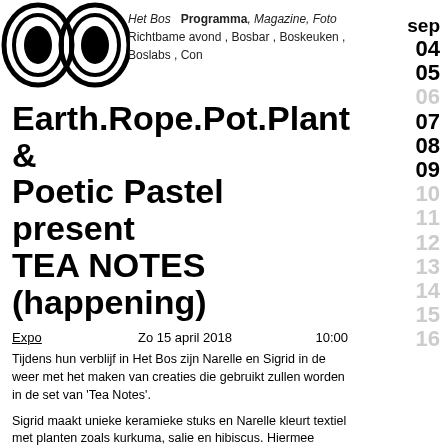Het Bos Programma, Magazine, Foto Richtbame avond , Bosbar , Boskeuken , Boslabs , Con
Earth.Rope.Pot.Plant & Poetic Pastel present TEA NOTES (happening)
Expo   Zo 15 april 2018   10:00
Tijdens hun verblijf in Het Bos zijn Narelle en Sigrid in de weer met het maken van creaties die gebruikt zullen worden in de set van 'Tea Notes'.
Sigrid maakt unieke keramieke stuks en Narelle kleurt textiel met planten zoals kurkuma, salie en hibiscus. Hiermee willen ze een intieme en inspirerende ruimte creëren voor een theekransje. Michelle van Table Dance maakt zoets voor de gelegenheid en Jatinder Singh Durbailau speelt enkele noten op de dikruba
sep
04
05
06
07
08
09
10
11
12
13
14
15
16